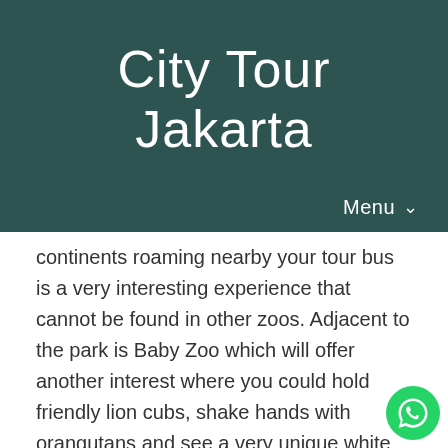City Tour Jakarta
Menu
continents roaming nearby your tour bus is a very interesting experience that cannot be found in other zoos. Adjacent to the park is Baby Zoo which will offer another interest where you could hold friendly lion cubs, shake hands with orangutans and see a very unique white tiger. Price per person in USD. Language Single 2 – 4 pax 5 – 7 pax 8 – Up Adult Child Adult Child Adult